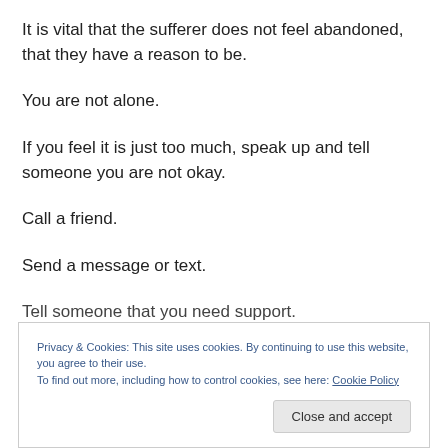It is vital that the sufferer does not feel abandoned, that they have a reason to be.
You are not alone.
If you feel it is just too much, speak up and tell someone you are not okay.
Call a friend.
Send a message or text.
Tell someone that you need support.
Privacy & Cookies: This site uses cookies. By continuing to use this website, you agree to their use.
To find out more, including how to control cookies, see here: Cookie Policy